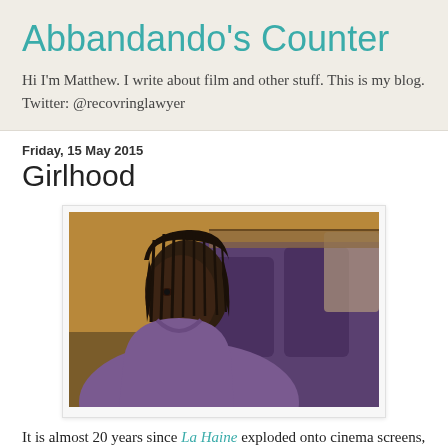Abbandando's Counter
Hi I'm Matthew. I write about film and other stuff. This is my blog. Twitter: @recovringlawyer
Friday, 15 May 2015
Girlhood
[Figure (photo): A young Black woman with braids sits on a bus or transit vehicle, looking pensively to the side. She wears a purple hoodie. The background shows blue seat backs and a shelf or rack area.]
It is almost 20 years since La Haine exploded onto cinema screens, summoning the rage that flowed, and flows still,